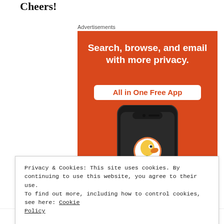Cheers!
Advertisements
[Figure (photo): DuckDuckGo advertisement banner: orange background with white bold text 'Search, browse, and email with more privacy.' and a white badge reading 'All in One Free App' in orange. Below is a dark smartphone showing the DuckDuckGo logo (duck icon) and the text 'DuckDuckGo.']
Privacy & Cookies: This site uses cookies. By continuing to use this website, you agree to their use.
To find out more, including how to control cookies, see here: Cookie Policy
Close and accept